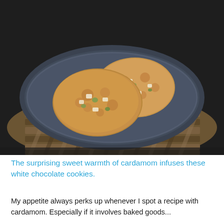[Figure (photo): Two golden-brown cookies with white chocolate chunks and green pistachio pieces resting on a dark blue/grey ceramic plate, placed on a woven palm leaf or rattan placemat. Background is dark grey.]
The surprising sweet warmth of cardamom infuses these white chocolate cookies.
My appetite always perks up whenever I spot a recipe with cardamom. Especially if it involves baked goods...